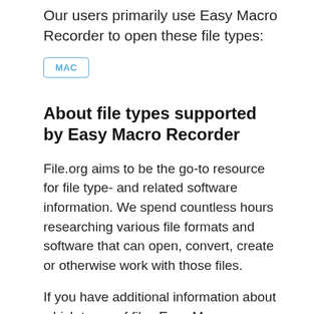Our users primarily use Easy Macro Recorder to open these file types:
MAC
About file types supported by Easy Macro Recorder
File.org aims to be the go-to resource for file type- and related software information. We spend countless hours researching various file formats and software that can open, convert, create or otherwise work with those files.
If you have additional information about which types of files Easy Macro Recorder can process, please do get in touch - we would love hearing